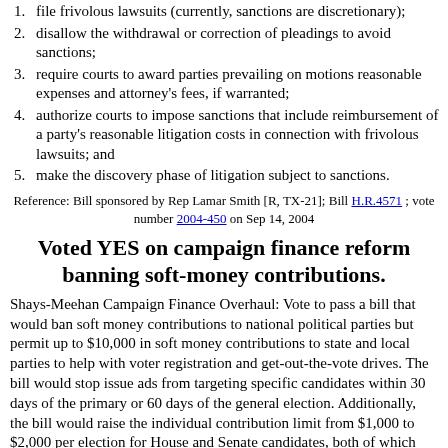file frivolous lawsuits (currently, sanctions are discretionary);
disallow the withdrawal or correction of pleadings to avoid sanctions;
require courts to award parties prevailing on motions reasonable expenses and attorney's fees, if warranted;
authorize courts to impose sanctions that include reimbursement of a party's reasonable litigation costs in connection with frivolous lawsuits; and
make the discovery phase of litigation subject to sanctions.
Reference: Bill sponsored by Rep Lamar Smith [R, TX-21]; Bill H.R.4571 ; vote number 2004-450 on Sep 14, 2004
Voted YES on campaign finance reform banning soft-money contributions.
Shays-Meehan Campaign Finance Overhaul: Vote to pass a bill that would ban soft money contributions to national political parties but permit up to $10,000 in soft money contributions to state and local parties to help with voter registration and get-out-the-vote drives. The bill would stop issue ads from targeting specific candidates within 30 days of the primary or 60 days of the general election. Additionally, the bill would raise the individual contribution limit from $1,000 to $2,000 per election for House and Senate candidates, both of which would be indexed for inflation.
Reference: Bill sponsored by Shays, R-CT, and Meehan D-MA; Bill HR 2356 ; vote number 2002-34 on Feb 14, 2002
Voted YES on banning soft money donations to national political parties.